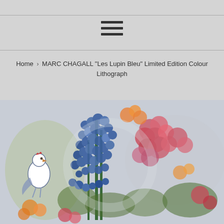[Figure (other): Hamburger menu icon with three horizontal lines]
Home › MARC CHAGALL "Les Lupin Bleu" Limited Edition Colour Lithograph
[Figure (photo): Chagall artwork 'Les Lupin Bleu' - a colourful lithograph featuring blue lupins, red flowers, and a white rooster/bird figure on the left, painted in Chagall's characteristic style with soft washes of colour]